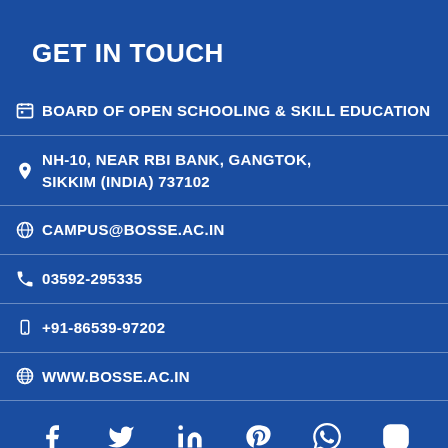GET IN TOUCH
BOARD OF OPEN SCHOOLING & SKILL EDUCATION
NH-10, NEAR RBI BANK, GANGTOK, SIKKIM (INDIA) 737102
CAMPUS@BOSSE.AC.IN
03592-295335
+91-86539-97202
WWW.BOSSE.AC.IN
[Figure (infographic): Social media icons row: Facebook, Twitter, LinkedIn, Pinterest, WhatsApp, Instagram]